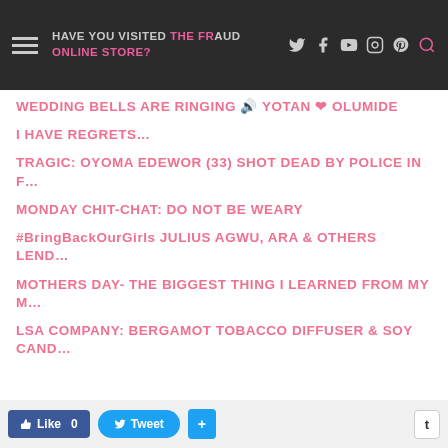HAVE YOU VISITED THE FRAUD ONLINE STORE?
WEDDING BELLS ARE RINGING 🔈 YOTAN ❤ OLUMIDE
I HAVE REGRETS…
TRAGIC: OYOMA EDEWOR (33) SHOT DEAD BY POLICE IN F…
MONDAY CHIT-CHAT: DO NOT BE WEARY
#BringBackOurGirls JULIUS AGWU, ARA & OTHERS LEND…
MOTHERS DAY- THE BIGGEST THING I LEARNED FROM MY M…
LSA COMPANY: BERGAMOT TOBACCO DIFFUSER & SOY CAND…